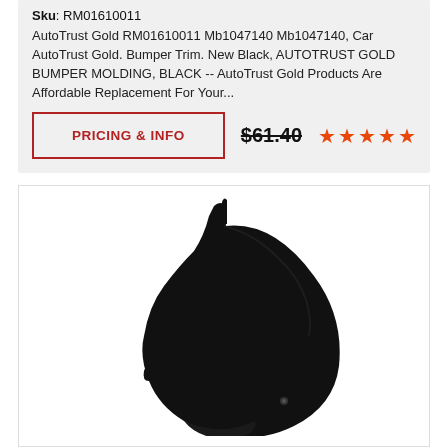Sku: RM01610011
AutoTrust Gold RM01610011 Mb1047140 Mb1047140, Car AutoTrust Gold. Bumper Trim. New Black, AUTOTRUST GOLD BUMPER MOLDING, BLACK -- AutoTrust Gold Products Are Affordable Replacement For Your...
PRICING & INFO
$61.40
[Figure (other): Five orange star rating icons]
[Figure (photo): Black plastic bumper trim molding piece (RM01610011), a curved black automotive bumper corner trim piece shown against white background]